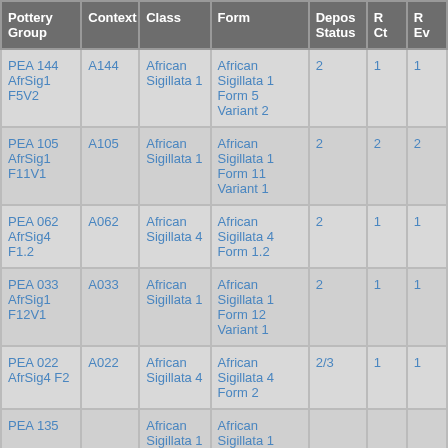| Pottery Group | Context | Class | Form | Depos Status | R Ct | R Ev |
| --- | --- | --- | --- | --- | --- | --- |
| PEA 144 AfrSig1 F5V2 | A144 | African Sigillata 1 | African Sigillata 1 Form 5 Variant 2 | 2 | 1 | 1 |
| PEA 105 AfrSig1 F11V1 | A105 | African Sigillata 1 | African Sigillata 1 Form 11 Variant 1 | 2 | 2 | 2 |
| PEA 062 AfrSig4 F1.2 | A062 | African Sigillata 4 | African Sigillata 4 Form 1.2 | 2 | 1 | 1 |
| PEA 033 AfrSig1 F12V1 | A033 | African Sigillata 1 | African Sigillata 1 Form 12 Variant 1 | 2 | 1 | 1 |
| PEA 022 AfrSig4 F2 | A022 | African Sigillata 4 | African Sigillata 4 Form 2 | 2/3 | 1 | 1 |
| PEA 135 |  | African Sigillata 1 | African Sigillata 1 ... |  |  |  |